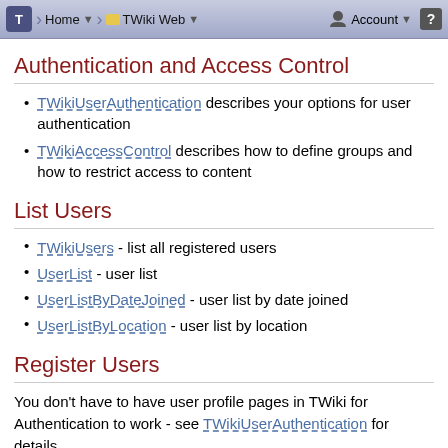Home | TWiki Web | Account
Authentication and Access Control
TWikiUserAuthentication describes your options for user authentication
TWikiAccessControl describes how to define groups and how to restrict access to content
List Users
TWikiUsers - list all registered users
UserList - user list
UserListByDateJoined - user list by date joined
UserListByLocation - user list by location
Register Users
You don't have to have user profile pages in TWiki for Authentication to work - see TWikiUserAuthentication for details.